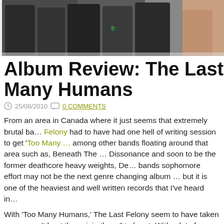[Figure (photo): Band photo showing multiple people wearing dark hoodies and jackets, partially cropped]
Album Review: The Last Fe… Many Humans
25/08/2010  0 COMMENTS
From an area in Canada where it just seems that extremely brutal ba… Felony had to have had one hell of writing session to get 'Too Many … among other bands floating around that area such as, Beneath The … Dissonance and soon to be the former deathcore heavy weights, De… bands sophomore effort may not be the next genre changing album … but it is one of the heaviest and well written records that I've heard in…
With 'Too Many Humans,' The Last Felony seem to have taken mea… can't beat them, join them," to heart. With a lot of attention being foc… release and the great reviews critics gave Ion Dissonance's last albu… that TLF's release had to have some sound that would give critics th…
[Figure (photo): Dark image with fire/sparks visible against black background]
Opening with 'We A… Developments for M…